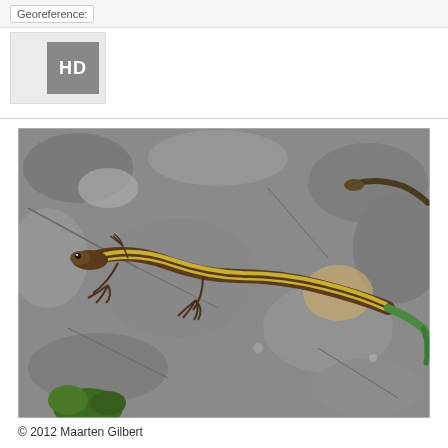Georeference:
[Figure (photo): HD badge/thumbnail placeholder with gray background]
[Figure (photo): A striped lizard (skink or lacertid) on a rocky gray surface with some vegetation visible at bottom left. The lizard has distinctive brown and yellow/green stripes along its body and a blue-green tail.]
© 2012 Maarten Gilbert